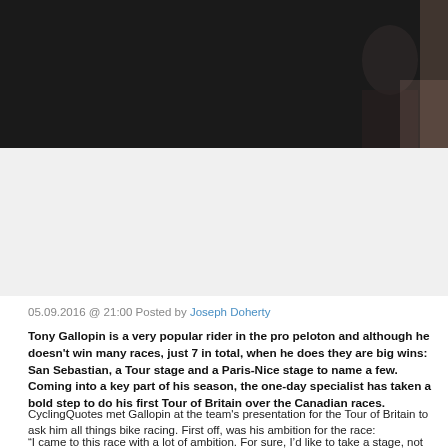[Figure (photo): Dark background image with italic white quote text reading: had a good year but no wins so I think it's important to get one. A partially visible person appears on the right side.]
05.09.2016 @ 21:00 Posted by Joseph Doherty
Tony Gallopin is a very popular rider in the pro peloton and although he doesn't win many races, just 7 in total, when he does they are big wins: San Sebastian, a Tour stage and a Paris-Nice stage to name a few. Coming into a key part of his season, the one-day specialist has taken a bold step to do his first Tour of Britain over the Canadian races.
CyclingQuotes met Gallopin at the team's presentation for the Tour of Britain to ask him all things bike racing. First off, was his ambition for the race:
“I came to this race with a lot of ambition. For sure, I’d like to take a stage, not just personally but also with the team, through Andre Greipel. Why not also take